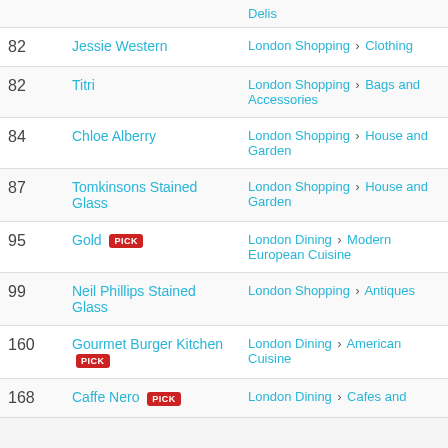| # | Name | Category |
| --- | --- | --- |
|  |  | Delis |
| 82 | Jessie Western | London Shopping > Clothing |
| 82 | Titri | London Shopping > Bags and Accessories |
| 84 | Chloe Alberry | London Shopping > House and Garden |
| 87 | Tomkinsons Stained Glass | London Shopping > House and Garden |
| 95 | Gold [PICK] | London Dining > Modern European Cuisine |
| 99 | Neil Phillips Stained Glass | London Shopping > Antiques |
| 160 | Gourmet Burger Kitchen [PICK] | London Dining > American Cuisine |
| 168 | Caffe Nero [PICK] | London Dining > Cafes and |